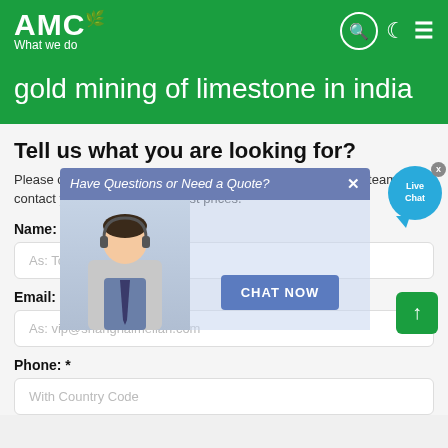AMC What we do
gold mining of limestone in india
Tell us what you are looking for?
Please complete and submit the following form and our sales team will contact you shortly with our best prices.
[Figure (screenshot): Live chat popup overlay with 'Have Questions or Need a Quote?' header, a customer service representative image, and a CHAT NOW button. Also a Live Chat bubble icon in top right.]
Name: *
As: Tom
Email: *
As: vip@shanghaimeilan.com
Phone: *
With Country Code